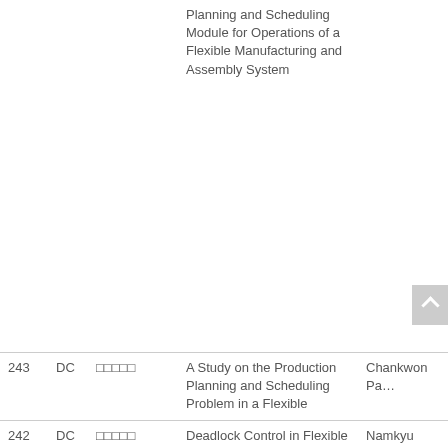| No. | Type | Korean | Title | Author |
| --- | --- | --- | --- | --- |
|  |  |  | Planning and Scheduling Module for Operations of a Flexible Manufacturing and Assembly System |  |
| 243 | DC | □□□□□ | A Study on the Production Planning and Scheduling Problem in a Flexible | Chankwon Pa… |
| 242 | DC | □□□□□ | Deadlock Control in Flexible Manufacturing with a Distributed Control Scheme | Namkyu Park… |
| 241 | DC | □□□□□ | A Comparative Analysis of | Janghan Lee… |